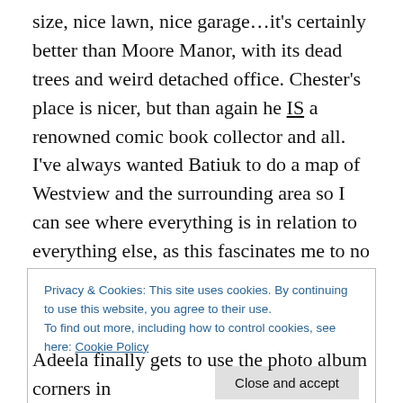size, nice lawn, nice garage…it's certainly better than Moore Manor, with its dead trees and weird detached office. Chester's place is nicer, but than again he IS a renowned comic book collector and all. I've always wanted Batiuk to do a map of Westview and the surrounding area so I can see where everything is in relation to everything else, as this fascinates me to no end. Given his obvious refusal to put anything more than significantly less than the bare minimum into this thing, I assume I'll be waiting for that for some time.
Privacy & Cookies: This site uses cookies. By continuing to use this website, you agree to their use.
To find out more, including how to control cookies, see here: Cookie Policy
Adeela finally gets to use the photo album corners in